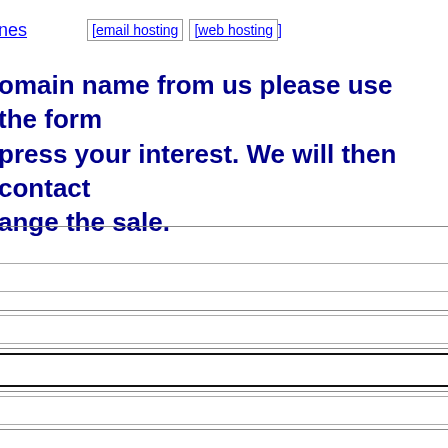nes   [email hosting]   [web hosting]
domain name from us please use the form press your interest. We will then contact nge the sale.
[Figure (screenshot): Web form with multiple input fields, one with thick border indicating focus]